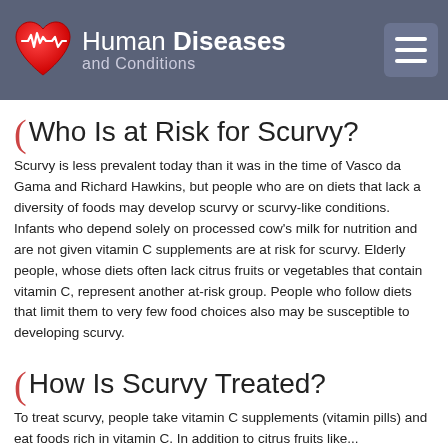Human Diseases and Conditions
Who Is at Risk for Scurvy?
Scurvy is less prevalent today than it was in the time of Vasco da Gama and Richard Hawkins, but people who are on diets that lack a diversity of foods may develop scurvy or scurvy-like conditions. Infants who depend solely on processed cow's milk for nutrition and are not given vitamin C supplements are at risk for scurvy. Elderly people, whose diets often lack citrus fruits or vegetables that contain vitamin C, represent another at-risk group. People who follow diets that limit them to very few food choices also may be susceptible to developing scurvy.
How Is Scurvy Treated?
To treat scurvy, people take vitamin C supplements (vitamin pills) and eat foods rich in vitamin C. In addition to citrus fruits like...